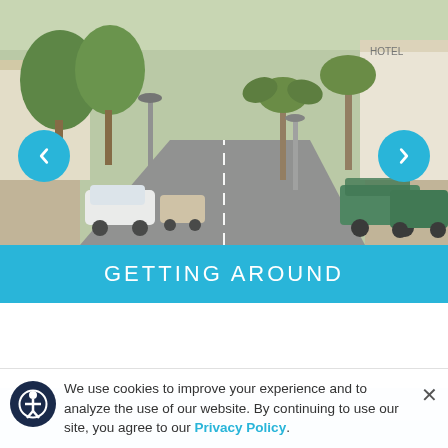[Figure (photo): Street scene of a town with palm trees, parked cars including a white SUV, golf carts on the right side, shops and a hotel visible in the background, sunny day]
GETTING AROUND
[Figure (photo): Light blue sky gradient section, partial view]
We use cookies to improve your experience and to analyze the use of our website. By continuing to use our site, you agree to our Privacy Policy.